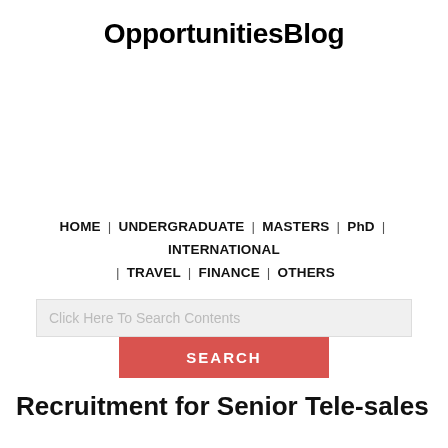OpportunitiesBlog
HOME | UNDERGRADUATE | MASTERS | PhD | INTERNATIONAL | TRAVEL | FINANCE | OTHERS
Click Here To Search Contents
SEARCH
Recruitment for Senior Tele-sales